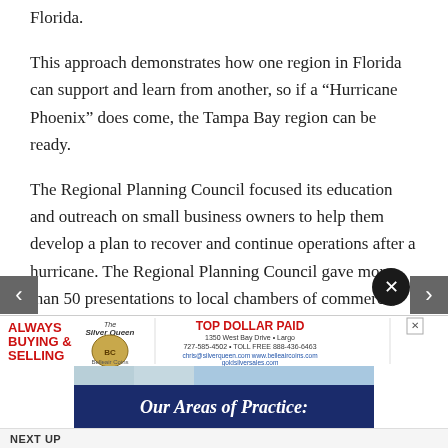Florida.
This approach demonstrates how one region in Florida can support and learn from another, so if a “Hurricane Phoenix” does come, the Tampa Bay region can be ready.
The Regional Planning Council focused its education and outreach on small business owners to help them develop a plan to recover and continue operations after a hurricane. The Regional Planning Council gave more than 50 presentations to local chambers of commerce, business groups and local governments about Project Phoenix 2.0.
[Figure (screenshot): Advertisement banner showing 'Our Areas of Practice:' text on a dark navy background with a building image in the background. An X close button is visible in the top right corner.]
NEXT UP
[Figure (illustration): Bottom advertisement banner for Silver Queen / Belleair Coins showing 'ALWAYS BUYING & SELLING' in red bold text, The Silver Queen logo, coin imagery, 'TOP DOLLAR PAID' in red text, and contact information including 1350 West Bay Drive, Largo, phone numbers and website.]